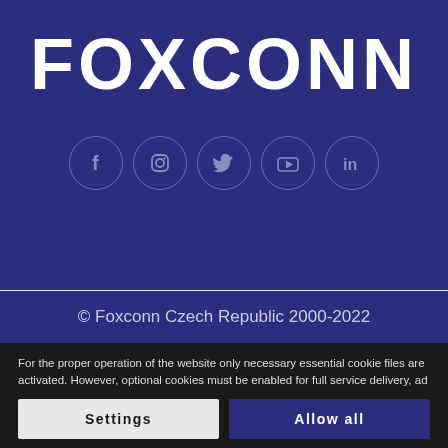[Figure (logo): Foxconn logo in large bold white uppercase text on dark blue background]
[Figure (infographic): Five social media icon circles: Facebook (f), Instagram, Twitter, YouTube, LinkedIn on dark blue background]
© Foxconn Czech Republic 2000-2022
For the proper operation of the website only necessary essential cookie files are activated. However, optional cookies must be enabled for full service delivery, ad personalization and traffic analysis. Use the following button to turn them on. More information.